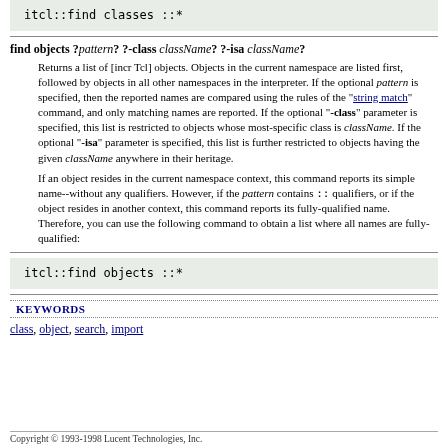itcl::find classes ::*
find objects ?pattern? ?-class className? ?-isa className?
Returns a list of [incr Tcl] objects. Objects in the current namespace are listed first, followed by objects in all other namespaces in the interpreter. If the optional pattern is specified, then the reported names are compared using the rules of the "string match" command, and only matching names are reported. If the optional "-class" parameter is specified, this list is restricted to objects whose most-specific class is className. If the optional "-isa" parameter is specified, this list is further restricted to objects having the given className anywhere in their heritage.
If an object resides in the current namespace context, this command reports its simple name--without any qualifiers. However, if the pattern contains :: qualifiers, or if the object resides in another context, this command reports its fully-qualified name. Therefore, you can use the following command to obtain a list where all names are fully-qualified:
itcl::find objects ::*
KEYWORDS
class, object, search, import
Copyright © 1993-1998 Lucent Technologies, Inc.